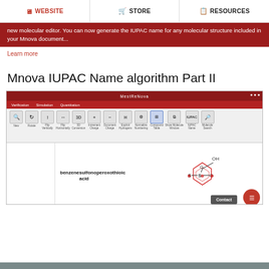WEBSITE | STORE | RESOURCES
new molecular editor. You can now generate the IUPAC name for any molecular structure included in your Mnova document...
Learn more
Mnova IUPAC Name algorithm Part II
[Figure (screenshot): Screenshot of MestReNova software showing IUPAC Name tool with molecular structure labeled 'benzenesulfonoperoxothioic acid' and its chemical structure diagram showing S, S, O atoms]